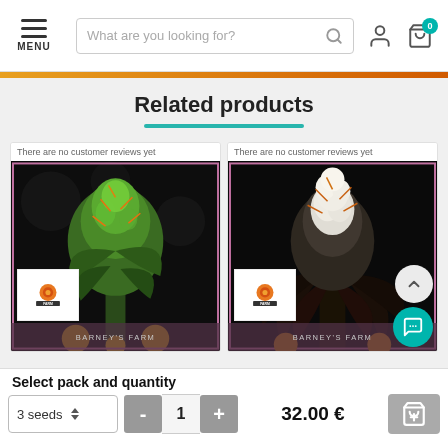[Figure (screenshot): Website navigation bar with hamburger menu (MENU), search input ('What are you looking for?'), user icon, and shopping cart icon with badge showing 0]
[Figure (photo): Two product cards showing cannabis plant bud images with 'There are no customer reviews yet' text, brand logo overlays, and product label bars. Right card has scroll-up and chat buttons.]
Related products
There are no customer reviews yet
There are no customer reviews yet
Select pack and quantity
3 seeds  ÷  -  1  +  32.00 €